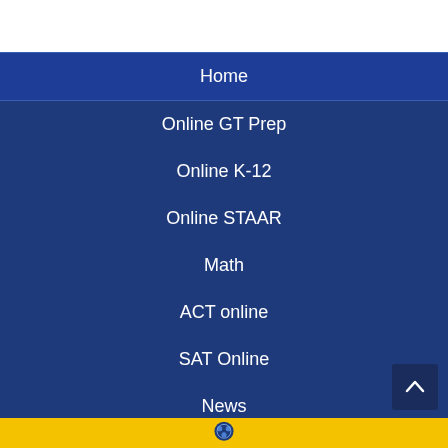Home
Online GT Prep
Online K-12
Online STAAR
Math
ACT online
SAT Online
News